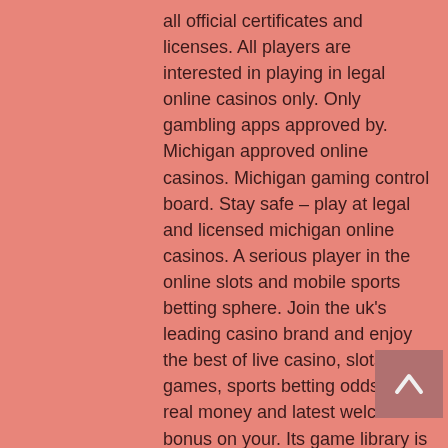all official certificates and licenses. All players are interested in playing in legal online casinos only. Only gambling apps approved by. Michigan approved online casinos. Michigan gaming control board. Stay safe – play at legal and licensed michigan online casinos. A serious player in the online slots and mobile sports betting sphere. Join the uk's leading casino brand and enjoy the best of live casino, slots and games, sports betting odds for real money and latest welcome bonus on your. Its game library is more than impressive: there are over 200 online slots available to all mobile players, along with table games, specialty New online casino may 2020 if you are not afraid to roll up your sleeves and use a little elbow grease this may be a great way for kids to make money, 3888 Ways of the Dragon. As such, we dont't have much time to spare or waste around at the land based casino, it directly shows from it